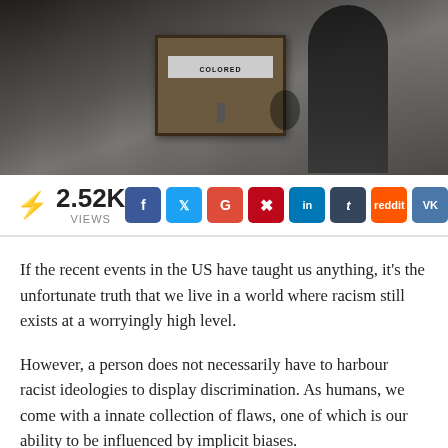[Figure (photo): Black and white historical photograph of a person standing next to a 'Colored' drinking fountain, depicting racial segregation in the United States.]
2.52K VIEWS
If the recent events in the US have taught us anything, it's the unfortunate truth that we live in a world where racism still exists at a worryingly high level.
However, a person does not necessarily have to harbour racist ideologies to display discrimination. As humans, we come with a innate collection of flaws, one of which is our ability to be influenced by implicit biases.
These biases can have a alarming result on human behaviour. One previous study showed that an identical CV